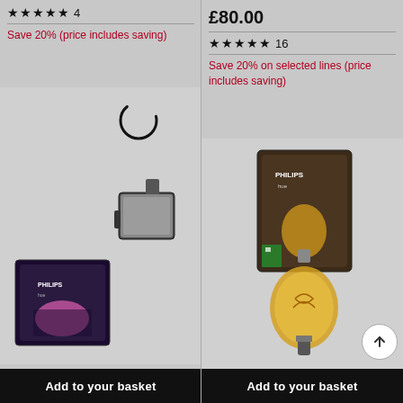★★★★★ 4
Save 20% (price includes saving)
[Figure (photo): Philips Hue outdoor wall light sconce in black with product box showing pink/magenta lighting]
[Figure (other): Loading spinner circle overlay]
Add to your basket
£80.00
★★★★★ 16
Save 20% on selected lines (price includes saving)
[Figure (photo): Philips Hue filament bulb with product box and amber glowing bulb in foreground]
[Figure (other): Circular up-arrow scroll button]
Add to your basket